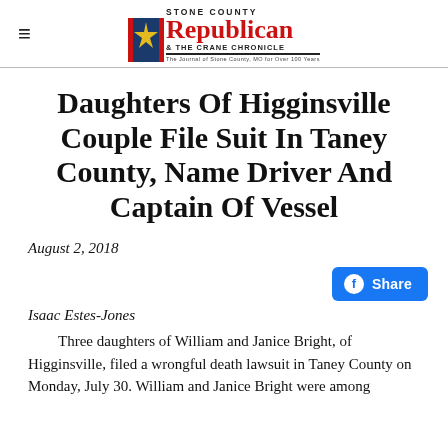Stone County Republican & The Crane Chronicle
Daughters Of Higginsville Couple File Suit In Taney County, Name Driver And Captain Of Vessel
August 2, 2018
[Figure (other): Facebook Share button]
Isaac Estes-Jones
Three daughters of William and Janice Bright, of Higginsville, filed a wrongful death lawsuit in Taney County on Monday, July 30. William and Janice Bright were among